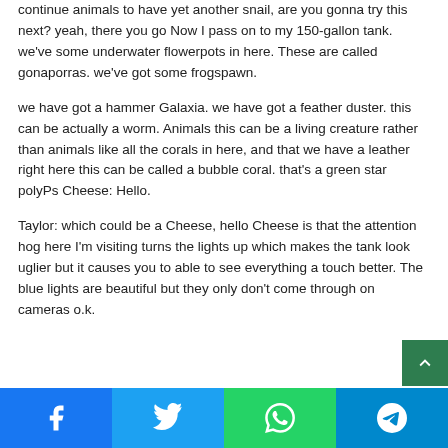continue animals to have yet another snail, are you gonna try this next? yeah, there you go Now I pass on to my 150-gallon tank. we've some underwater flowerpots in here. These are called gonaporras. we've got some frogspawn.
we have got a hammer Galaxia. we have got a feather duster. this can be actually a worm. Animals this can be a living creature rather than animals like all the corals in here, and that we have a leather right here this can be called a bubble coral. that's a green star polyPs Cheese: Hello.
Taylor: which could be a Cheese, hello Cheese is that the attention hog here I'm visiting turns the lights up which makes the tank look uglier but it causes you to able to see everything a touch better. The blue lights are beautiful but they only don't come through on cameras o.k.
Social share bar: Facebook, Twitter, WhatsApp, Telegram